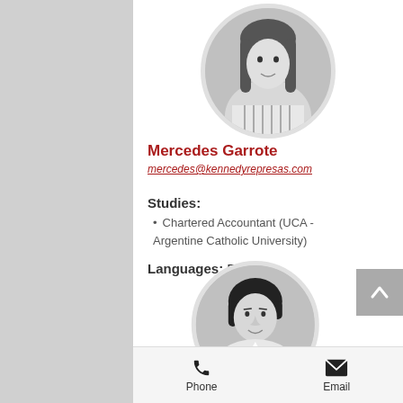[Figure (photo): Circular headshot of a young woman with long dark hair, wearing a striped top, black and white photo]
Mercedes Garrote
mercedes@kennedyrepresas.com
Studies:
Chartered Accountant (UCA - Argentine Catholic University)
Languages: English
[Figure (photo): Circular headshot of a young man with dark hair, smiling, wearing a white shirt, black and white photo]
Phone   Email